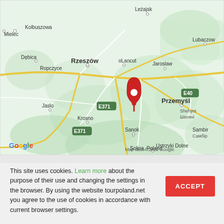[Figure (map): Google Maps screenshot showing southeastern Poland region including cities: Mielec, Kolbuszowa, Leżajsk, Lubaczow, Dębica, Rzeszów, Lancut, Jarosław, Ropczyce, Jaslo, Krosno, Przemyśl, Shehyni/Шегині, Sanok, Sambir/Самбір, Ustrzyki Dolne, Solina Poland. Road E371 and E40 labeled. Red location pin marker visible near center. Map data ©2022 Google / Google logo bottom left.]
This site uses cookies. Learn more about the purpose of their use and changing the settings in the browser. By using the website tourpoland.net you agree to the use of cookies in accordance with current browser settings.